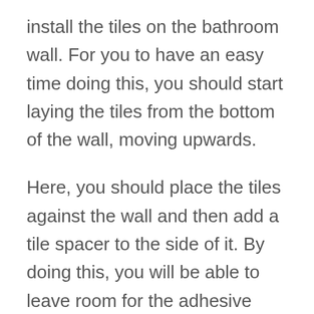install the tiles on the bathroom wall. For you to have an easy time doing this, you should start laying the tiles from the bottom of the wall, moving upwards.
Here, you should place the tiles against the wall and then add a tile spacer to the side of it. By doing this, you will be able to leave room for the adhesive that will help secure the tiles onto the wall. You can install one tile after the other until you are done.